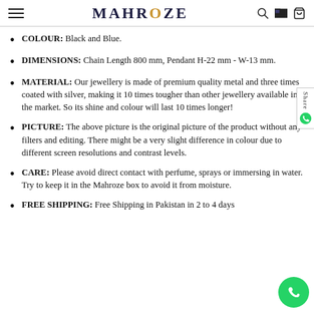MAHRОZE
COLOUR: Black and Blue.
DIMENSIONS: Chain Length 800 mm, Pendant H-22 mm - W-13 mm.
MATERIAL: Our jewellery is made of premium quality metal and three times coated with silver, making it 10 times tougher than other jewellery available in the market. So its shine and colour will last 10 times longer!
PICTURE: The above picture is the original picture of the product without any filters and editing. There might be a very slight difference in colour due to different screen resolutions and contrast levels.
CARE: Please avoid direct contact with perfume, sprays or immersing in water. Try to keep it in the Mahroze box to avoid it from moisture.
FREE SHIPPING: Free Shipping in Pakistan in 2 to 4 days